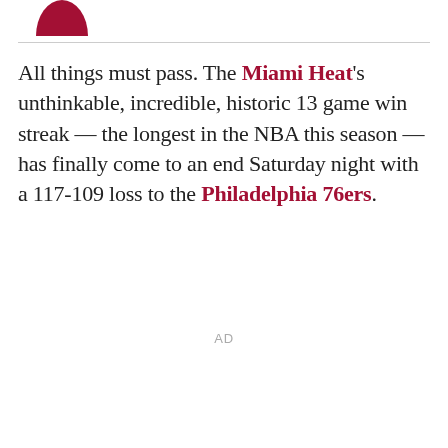[Figure (logo): Partial logo — dark red/maroon semicircle shape at top left]
All things must pass. The Miami Heat's unthinkable, incredible, historic 13 game win streak — the longest in the NBA this season — has finally come to an end Saturday night with a 117-109 loss to the Philadelphia 76ers.
AD